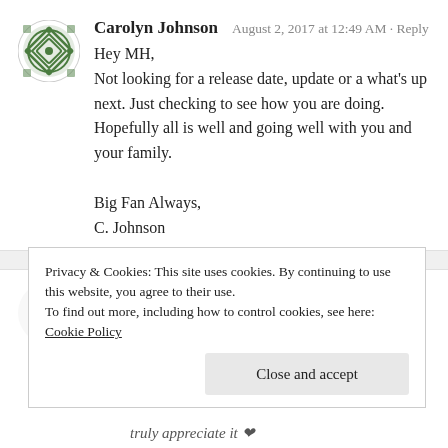[Figure (illustration): Green decorative geometric avatar icon for Carolyn Johnson]
Carolyn Johnson   August 2, 2017 at 12:49 AM · Reply
Hey MH,
Not looking for a release date, update or a what's up next. Just checking to see how you are doing. Hopefully all is well and going well with you and your family.

Big Fan Always,
C. Johnson
[Figure (illustration): Red and green decorative avatar icon for michellehluvs]
michellehluvs   August 2, 2017 at 4:49 AM · Reply
Privacy & Cookies: This site uses cookies. By continuing to use this website, you agree to their use.
To find out more, including how to control cookies, see here: Cookie Policy
Close and accept
truly appreciate it ❤